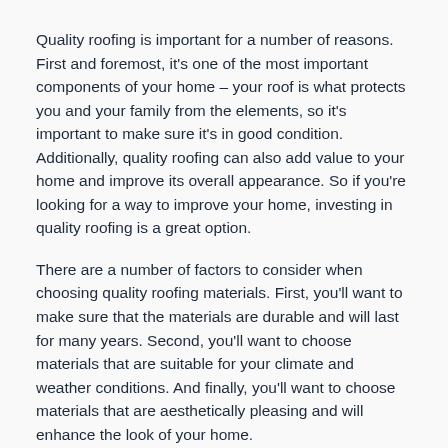Quality roofing is important for a number of reasons. First and foremost, it's one of the most important components of your home – your roof is what protects you and your family from the elements, so it's important to make sure it's in good condition. Additionally, quality roofing can also add value to your home and improve its overall appearance. So if you're looking for a way to improve your home, investing in quality roofing is a great option.
There are a number of factors to consider when choosing quality roofing materials. First, you'll want to make sure that the materials are durable and will last for many years. Second, you'll want to choose materials that are suitable for your climate and weather conditions. And finally, you'll want to choose materials that are aesthetically pleasing and will enhance the look of your home.
If you're looking for quality roofing services, be sure to contact the experts at Leicester Roofing Pros. We offer a wide range of high-quality roofing materials and services designed to meet all your needs and exceed your